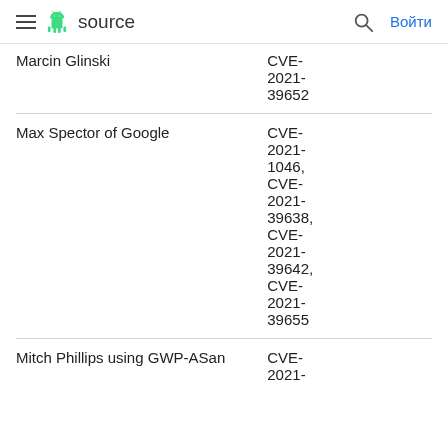source | Войти
| Researcher | CVE |
| --- | --- |
| Marcin Glinski | CVE-2021-39652 |
| Max Spector of Google | CVE-2021-1046, CVE-2021-39638, CVE-2021-39642, CVE-2021-39655 |
| Mitch Phillips using GWP-ASan | CVE-2021- |